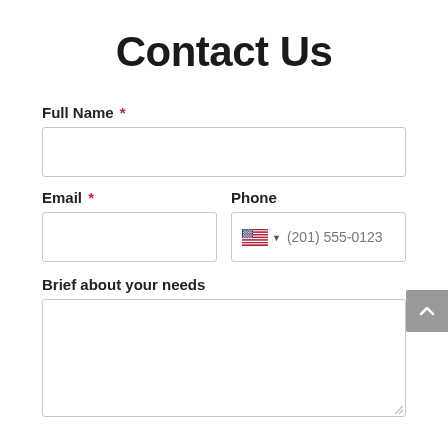Contact Us
Full Name *
Email *
Phone
(201) 555-0123
Brief about your needs